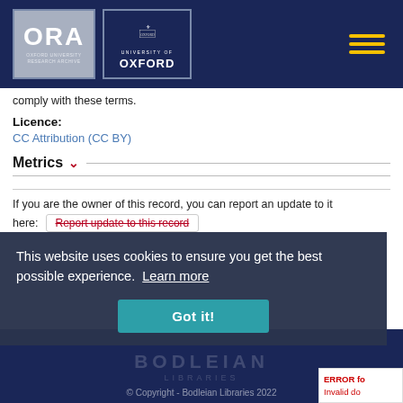[Figure (logo): Oxford University Research Archive (ORA) logo and University of Oxford shield logo on dark navy header bar with hamburger menu icon]
comply with these terms.
Licence: CC Attribution (CC BY)
Metrics
If you are the owner of this record, you can report an update to it here:  Report update to this record
This website uses cookies to ensure you get the best possible experience.  Learn more
Got it!
© Copyright - Bodleian Libraries 2022